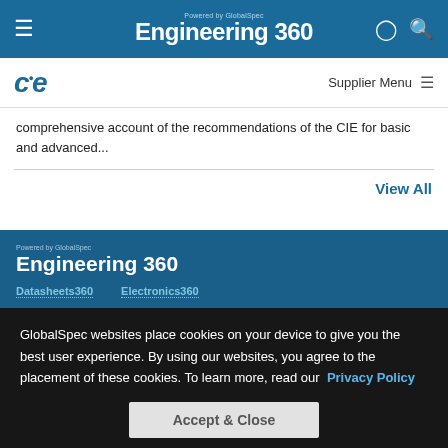Engineering 360 - Powered by GlobalSpec
[Figure (logo): CIE logo in blue]
comprehensive account of the recommendations of the CIE for basic and advanced...
View All
[Figure (logo): Engineering 360 footer logo - Powered by GlobalSpec]
Datasheets360
Electronics360
GlobalSpec websites place cookies on your device to give you the best user experience. By using our websites, you agree to the placement of these cookies. To learn more, read our Privacy Policy
Accept & Close